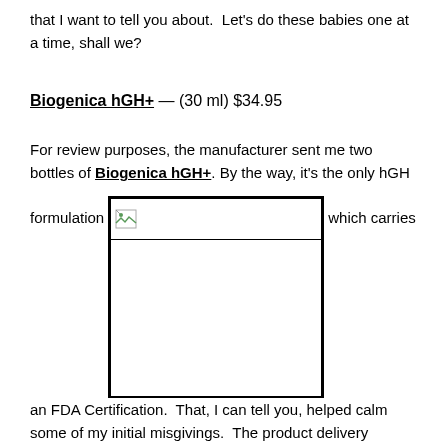that I want to tell you about.  Let's do these babies one at a time, shall we?
Biogenica hGH+ — (30 ml) $34.95
For review purposes, the manufacturer sent me two bottles of Biogenica hGH+. By the way, it's the only hGH formulation [image] which carries
[Figure (photo): A broken/missing image placeholder with a small broken image icon at top-left, displayed inline within the text flow, surrounded by a thick black border.]
an FDA Certification.  That, I can tell you, helped calm some of my initial misgivings.  The product delivery